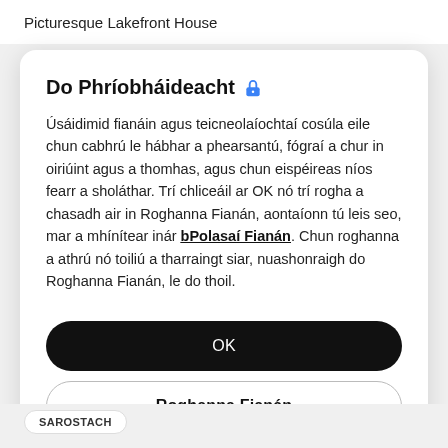Picturesque Lakefront House
Do Phríobháideacht 🔒
Úsáidimid fianáin agus teicneolaíochtaí cosúla eile chun cabhrú le hábhar a phearsantú, fógraí a chur in oiriúint agus a thomhas, agus chun eispéireas níos fearr a sholáthar. Trí chliceáil ar OK nó trí rogha a chasadh air in Roghanna Fianán, aontaíonn tú leis seo, mar a mhínítear inár bPolasaí Fianán. Chun roghanna a athrú nó toiliú a tharraingt siar, nuashonraigh do Roghanna Fianán, le do thoil.
OK
Roghanna Fianán
SAROSTACH